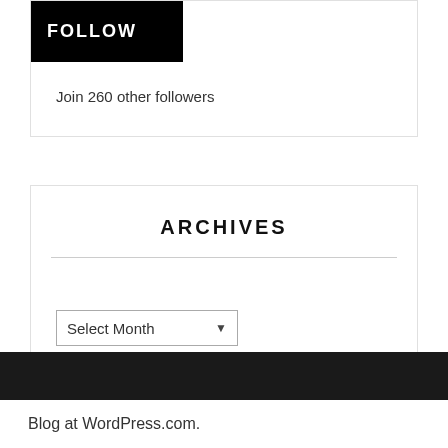FOLLOW
Join 260 other followers
ARCHIVES
Select Month
Blog at WordPress.com.